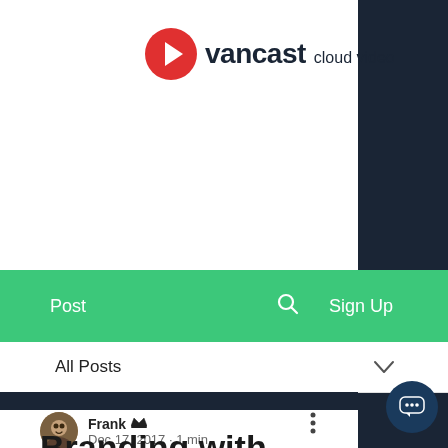[Figure (logo): Vancast cloud video logo — red circle with white play arrow, bold dark text 'vancast' and lighter 'cloud video']
[Figure (screenshot): Green navigation bar with 'Post', search icon, and 'Sign Up' links]
All Posts
[Figure (screenshot): Dark image strip at top of blog post thumbnail]
Frank 👑
Dec 17, 2017 · 1 min
Branding with